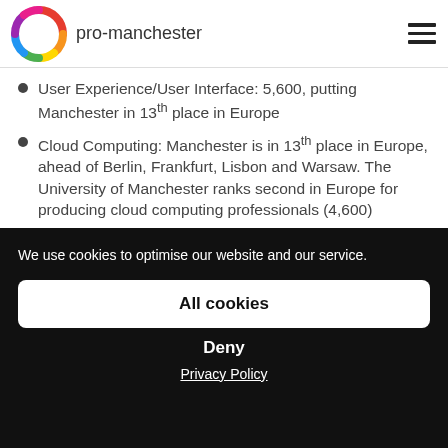pro-manchester
User Experience/User Interface: 5,600, putting Manchester in 13th place in Europe
Cloud Computing: Manchester is in 13th place in Europe, ahead of Berlin, Frankfurt, Lisbon and Warsaw. The University of Manchester ranks second in Europe for producing cloud computing professionals (4,600)
Cyber Security: 3,000. This puts Manchester
We use cookies to optimise our website and our service.
All cookies
Deny
Privacy Policy